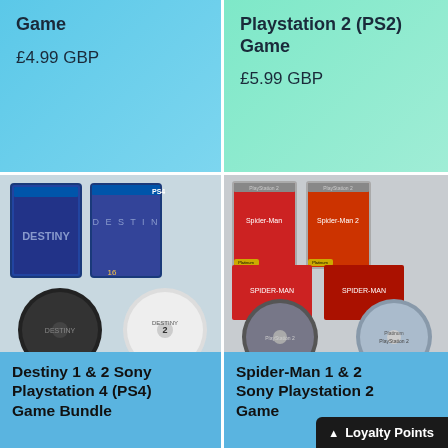Game
£4.99 GBP
Playstation 2 (PS2) Game
£5.99 GBP
[Figure (photo): Photo of Destiny 1 and Destiny 2 PS4 game cases with two game discs on a wooden surface]
Destiny 1 & 2 Sony Playstation 4 (PS4) Game Bundle
[Figure (photo): Photo of Spider-Man 1 and Spider-Man 2 PlayStation 2 game cases with two game discs on a wooden surface]
Spider-Man 1 & 2 Sony Playstation 2 Game
Loyalty Points